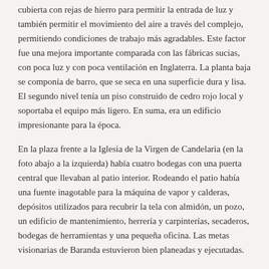cubierta con rejas de hierro para permitir la entrada de luz y también permitir el movimiento del aire a través del complejo, permitiendo condiciones de trabajo más agradables. Este factor fue una mejora importante comparada con las fábricas sucias, con poca luz y con poca ventilación en Inglaterra. La planta baja se componía de barro, que se seca en una superficie dura y lisa. El segundo nivel tenía un piso construido de cedro rojo local y soportaba el equipo más ligero. En suma, era un edificio impresionante para la época.
En la plaza frente a la Iglesia de la Virgen de Candelaria (en la foto abajo a la izquierda) había cuatro bodegas con una puerta central que llevaban al patio interior. Rodeando el patio había una fuente inagotable para la máquina de vapor y calderas, depósitos utilizados para recubrir la tela con almidón, un pozo, un edificio de mantenimiento, herrería y carpinterías, secaderos, bodegas de herramientas y una pequeña oficina. Las metas visionarias de Baranda estuvieron bien planeadas y ejecutadas.
Las Máquinas
Todo el equipo utilizado en la planta era maquinaria de última